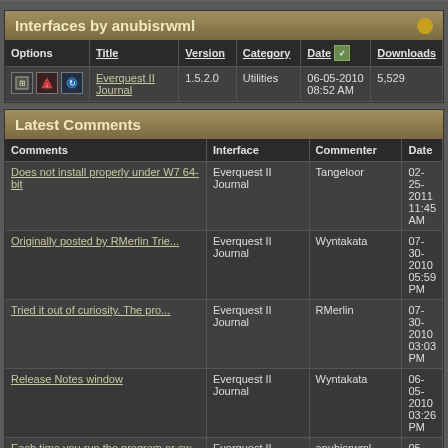Interfaces by anubisrwml
| Options | Title | Version | Category | Date | Downloads |
| --- | --- | --- | --- | --- | --- |
| [icons] | Everquest II Journal | 1.5.2.0 | Utilities | 06-05-2010 08:52 AM | 5,529 |
Latest Comments
| Comments | Interface | Commenter | Date |
| --- | --- | --- | --- |
| Does not install properly under W7 64-bit | Everquest II Journal | Tangeloor | 02-25-2011 11:45 AM |
| Originally posted by RMerlin Trie... | Everquest II Journal | Wyntakata | 07-30-2010 05:59 PM |
| Tried it out of curiosity. The pro... | Everquest II Journal | RMerlin | 07-30-2010 03:03 PM |
| Release Notes window | Everquest II Journal | Wyntakata | 06-05-2010 03:26 PM |
| Each time you run the program or sw... | Everquest II Journal | anubisrwml | 05-26-2010 05:25 PM |
| Had same with the DPS Window said... | Everquest II Journal | Ixoa | 05-26-2010 12:31 PM |
| Originally posted by anubisrwml I... | Everquest II Journal | Wyntakata | 05-26-2010 12:12 PM |
| Originally posted by Dolby You ha... | Everquest II Journal | anubisrwml | 05-26-2010 11:44 AM |